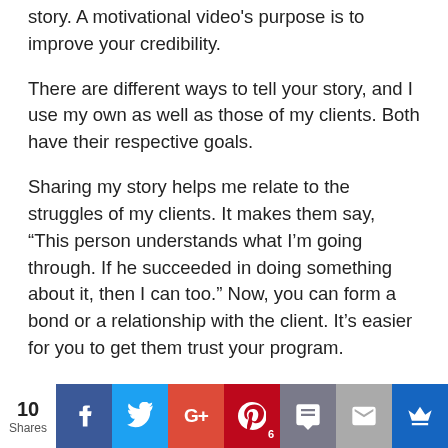story. A motivational video's purpose is to improve your credibility.
There are different ways to tell your story, and I use my own as well as those of my clients. Both have their respective goals.
Sharing my story helps me relate to the struggles of my clients. It makes them say, “This person understands what I’m going through. If he succeeded in doing something about it, then I can too.” Now, you can form a bond or a relationship with the client. It’s easier for you to get them trust your program.
[Figure (infographic): Social share bar showing 10 Shares count and buttons for Facebook, Twitter, Google+, Pinterest (6), SMS, Email, and a crown/bookmark icon]